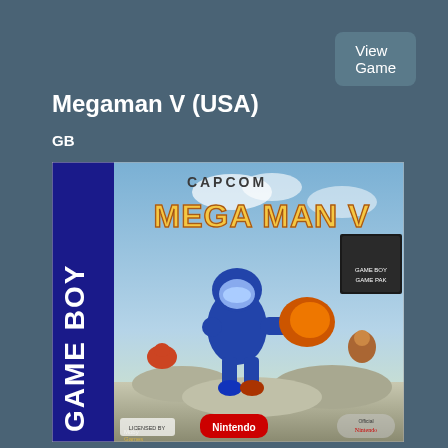View Game
Megaman V (USA)
GB
[Figure (photo): Game Boy cartridge box art for Mega Man V by Capcom. The box shows the Game Boy branding vertically on the left side in blue letters, Capcom logo at top center, Mega Man V logo in large yellow/orange letters, and the main character Mega Man in blue armor running with a weapon, surrounded by enemies, on a rocky landscape background. Nintendo and Moby Games logos appear at the bottom.]